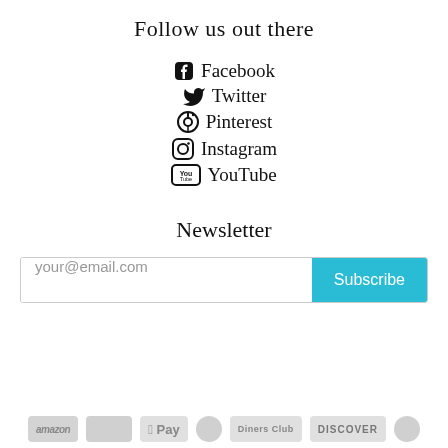Follow us out there
Facebook
Twitter
Pinterest
Instagram
YouTube
Newsletter
your@email.com  Subscribe
[Figure (other): Payment method logos: amazon, American Express, Apple Pay, Diners Club, Discover, and another logo — shown in gray at bottom of page]